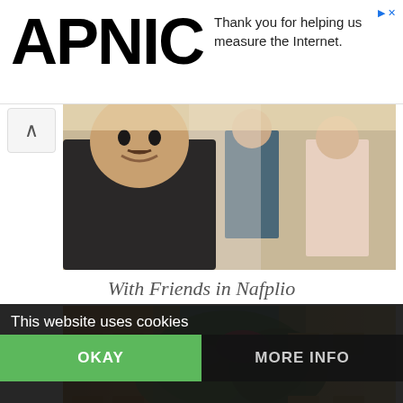[Figure (logo): APNIC logo in large bold black text on white background]
Thank you for helping us measure the Internet.
[Figure (photo): Selfie photo of a young man with friends on a sunny street]
With Friends in Nafplio
[Figure (photo): Street scene in Nafplio with colorful buildings, flowers, and people walking]
This website uses cookies
133
OKAY
MORE INFO